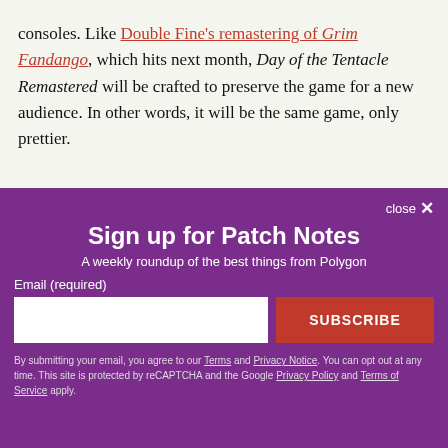consoles. Like Double Fine's remastering of Grim Fandango, which hits next month, Day of the Tentacle Remastered will be crafted to preserve the game for a new audience. In other words, it will be the same game, only prettier.
close ×
Sign up for Patch Notes
A weekly roundup of the best things from Polygon
Email (required)
SUBSCRIBE
By submitting your email, you agree to our Terms and Privacy Notice. You can opt out at any time. This site is protected by reCAPTCHA and the Google Privacy Policy and Terms of Service apply.